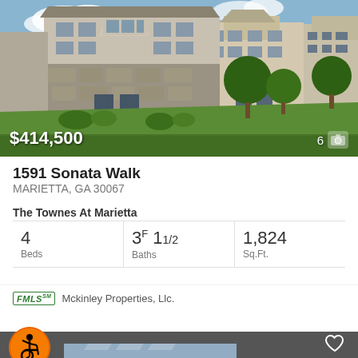[Figure (photo): Exterior photo of The Townes At Marietta townhome community showing beige/stone multi-story townhomes with landscaping and lawn]
$414,500
6 [camera icon]
1591 Sonata Walk
MARIETTA, GA 30067
The Townes At Marietta
4 Beds  3F 11/2 Baths  1,824 Sq.Ft.
FMLS℠ Mckinley Properties, Llc.
[Figure (photo): Partial view of another listing's exterior photo at bottom of screen]
[Figure (illustration): Accessibility icon (orange circle with wheelchair user symbol)]